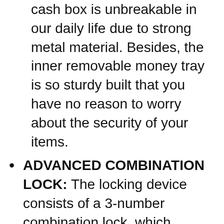cash box is unbreakable in our daily life due to strong metal material. Besides, the inner removable money tray is so sturdy built that you have no reason to worry about the security of your items.
ADVANCED COMBINATION LOCK: The locking device consists of a 3-number combination lock ,which contributes to protect your valuables.It is unnecessary for you to be afraid of losing your keys results from the well-designed code system, which can be simply set or changed.
REMOVABLE MONEY TRAY: The inner cash tray of the storage box is made up with five compartments, so your cash, coins and keys are able to be